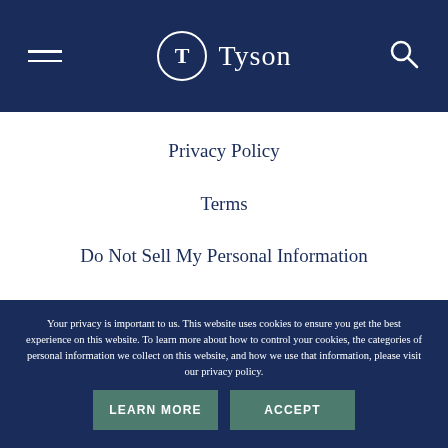Tyson
Privacy Policy
Terms
Do Not Sell My Personal Information
Your privacy is important to us. This website uses cookies to ensure you get the best experience on this website. To learn more about how to control your cookies, the categories of personal information we collect on this website, and how we use that information, please visit our privacy policy.
LEARN MORE
ACCEPT